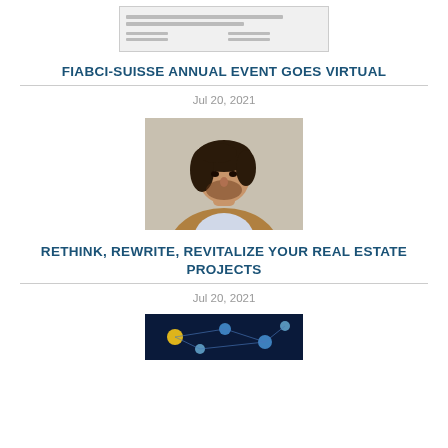[Figure (other): Small document/letterhead thumbnail image at top]
FIABCI-SUISSE ANNUAL EVENT GOES VIRTUAL
Jul 20, 2021
[Figure (photo): Portrait photo of a man with dark hair wearing a light blue shirt and brown jacket]
RETHINK, REWRITE, REVITALIZE YOUR REAL ESTATE PROJECTS
Jul 20, 2021
[Figure (photo): Partial image visible at bottom, appears to be a colorful network/technology illustration]